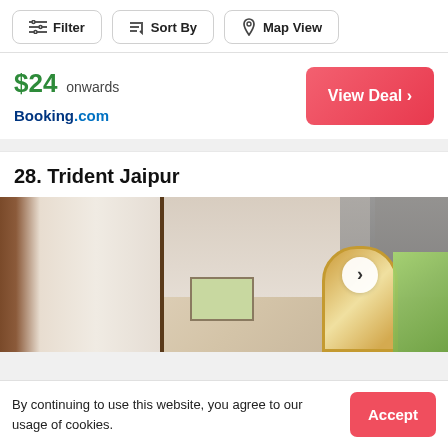[Figure (screenshot): Top navigation bar with Filter, Sort By, and Map View buttons]
$24 onwards
Booking.com
View Deal ›
28. Trident Jaipur
[Figure (photo): Hotel room interior showing a doorway, curtains, a framed picture on the wall, a lamp, and a decorative mirror with a view of greenery]
By continuing to use this website, you agree to our usage of cookies.
Accept